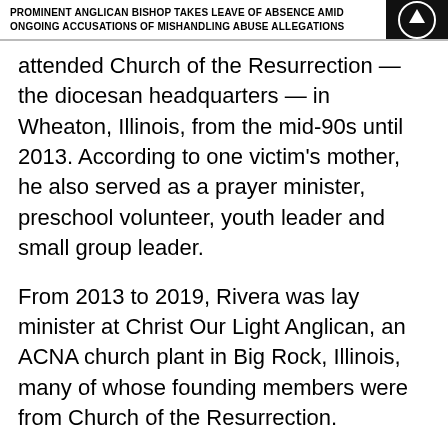PROMINENT ANGLICAN BISHOP TAKES LEAVE OF ABSENCE AMID ONGOING ACCUSATIONS OF MISHANDLING ABUSE ALLEGATIONS
attended Church of the Resurrection — the diocesan headquarters — in Wheaton, Illinois, from the mid-90s until 2013. According to one victim's mother, he also served as a prayer minister, preschool volunteer, youth leader and small group leader.
From 2013 to 2019, Rivera was lay minister at Christ Our Light Anglican, an ACNA church plant in Big Rock, Illinois, many of whose founding members were from Church of the Resurrection.
Rivera was arrested in 2019 and is being prosecuted for felony sexual assault and predatory abuse of a victim under 13 years of age.  While Rivera's lawyer did not respond to a request for comment, police say there is an ongoing